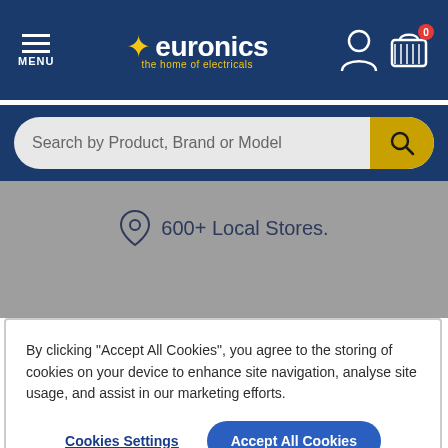[Figure (screenshot): Euronics website header with navigation bar showing menu icon, Euronics logo with star, user account icon, and shopping basket icon with 0 count]
Search by Product, Brand or Model
600+ Local Stores.
By clicking "Accept All Cookies", you agree to the storing of cookies on your device to enhance site navigation, analyse site usage, and assist in our marketing efforts.
Cookies Settings
Accept All Cookies